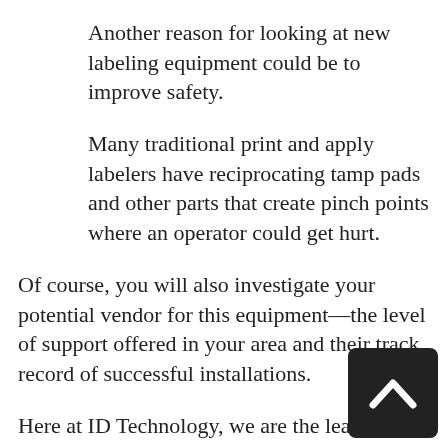Another reason for looking at new labeling equipment could be to improve safety.
Many traditional print and apply labelers have reciprocating tamp pads and other parts that create pinch points where an operator could get hurt.
Of course, you will also investigate your potential vendor for this equipment—the level of support offered in your area and their track record of successful installations.
Here at ID Technology, we are the leader in print and apply labeling systems in North America. Over the years, we have produced a portfolio of labeling systems for many applications.